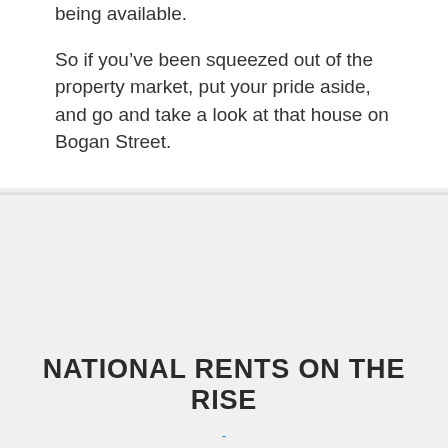being available.
So if you’ve been squeezed out of the property market, put your pride aside, and go and take a look at that house on Bogan Street.
NATIONAL RENTS ON THE RISE